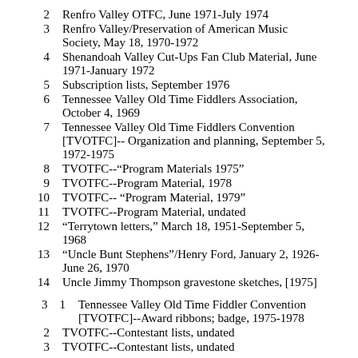2   Renfro Valley OTFC,  June 1971-July 1974
3   Renfro Valley/Preservation of American Music Society, May 18, 1970-1972
4   Shenandoah Valley Cut-Ups Fan Club Material, June 1971-January 1972
5   Subscription lists, September 1976
6   Tennessee Valley Old Time Fiddlers Association, October 4, 1969
7   Tennessee Valley Old Time Fiddlers Convention [TVOTFC]-- Organization and planning, September 5, 1972-1975
8   TVOTFC--"Program Materials 1975"
9   TVOTFC--Program Material, 1978
10  TVOTFC-- "Program Material, 1979"
11  TVOTFC--Program Material, undated
12  "Terrytown letters," March 18, 1951-September 5, 1968
13  "Uncle Bunt Stephens"/Henry Ford, January 2, 1926-June 26, 1970
14  Uncle Jimmy Thompson gravestone sketches, [1975]
3  1  Tennessee Valley Old Time Fiddler Convention [TVOTFC]--Award ribbons; badge, 1975-1978
2   TVOTFC--Contestant lists, undated
3   TVOTFC--Contestant lists, undated